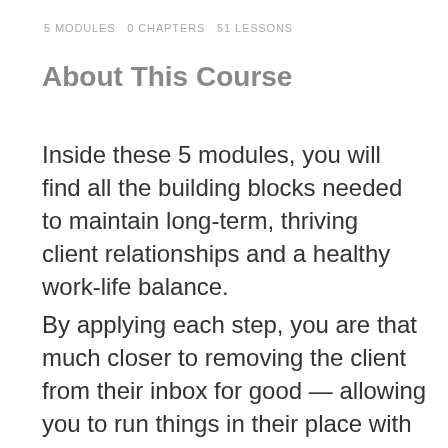5 MODULES   0 CHAPTERS   51 LESSONS
About This Course
Inside these 5 modules, you will find all the building blocks needed to maintain long-term, thriving client relationships and a healthy work-life balance.
By applying each step, you are that much closer to removing the client from their inbox for good — allowing you to run things in their place with confidence.